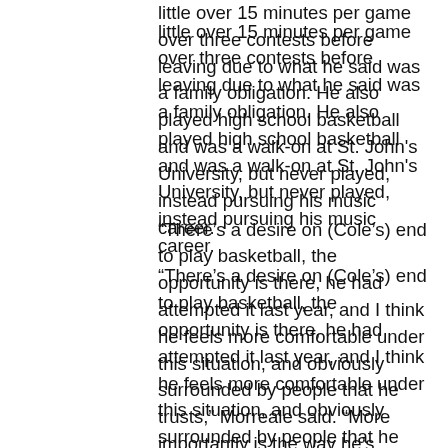little over 15 minutes per game over three contests before leaving due to what he said was a family obligation. He also played high school basketball and was a walk-on at St. John's University, but never played, instead pursuing his music career.
“There’s a desire on (Cole’s) end to play basketball, the opportunity is there, he had attempted it last year, and I think he feels more comfortable under this situation, and obviously surrounded by people that he trusts,” Morreale said. “More importantly is the way he’s approaching it. He’s going to have to make the team and he’s going to have to prove himself and that is his MO. He wants to be treated like any other basketball player.”
The Shooting Stars play their first-ever game on Thursday in Guelph, and Cole would only be able to play three games before his first tour opens June 10.
Morreale said he’s not concerned with Cole’s touring conflicts, noting that he generally...